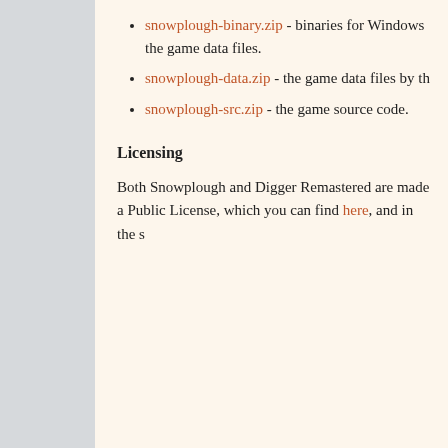snowplough-binary.zip - binaries for Windows the game data files.
snowplough-data.zip - the game data files by th
snowplough-src.zip - the game source code.
Licensing
Both Snowplough and Digger Remastered are made a Public License, which you can find here, and in the s
Subscribe to my RSS feed
Simple templat